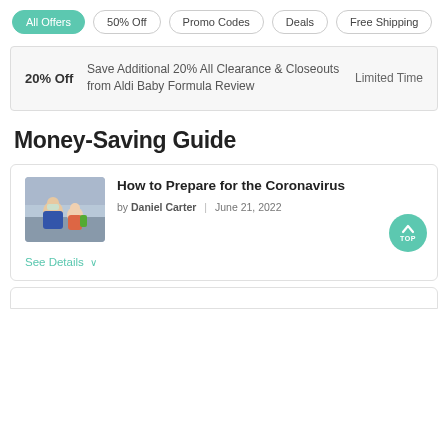All Offers | 50% Off | Promo Codes | Deals | Free Shipping
| Discount | Description | Duration |
| --- | --- | --- |
| 20% Off | Save Additional 20% All Clearance & Closeouts from Aldi Baby Formula Review | Limited Time |
Money-Saving Guide
How to Prepare for the Coronavirus
by Daniel Carter | June 21, 2022
[Figure (photo): Photo of people wearing masks, possibly outdoors]
See Details ∨